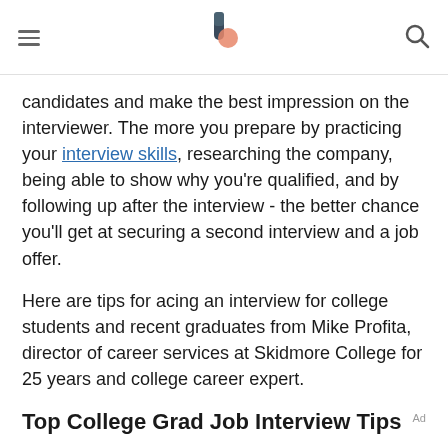[hamburger menu] [logo] [search icon]
candidates and make the best impression on the interviewer. The more you prepare by practicing your interview skills, researching the company, being able to show why you're qualified, and by following up after the interview - the better chance you'll get at securing a second interview and a job offer.
Here are tips for acing an interview for college students and recent graduates from Mike Profita, director of career services at Skidmore College for 25 years and college career expert.
Top College Grad Job Interview Tips
Analyze Your Target Job. What skills, knowledge, and personal qualities are required by the employer and are